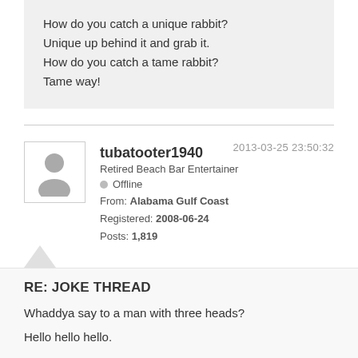How do you catch a unique rabbit?

Unique up behind it and grab it.

How do you catch a tame rabbit?

Tame way!
tubatooter1940
Retired Beach Bar Entertainer
Offline
From: Alabama Gulf Coast
Registered: 2008-06-24
Posts: 1,819
2013-03-25 23:50:32
RE: JOKE THREAD
Whaddya say to a man with three heads?

Hello hello hello.